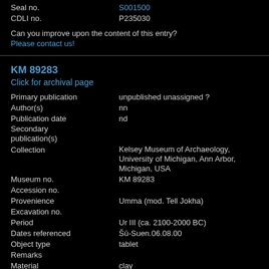| Field | Value |
| --- | --- |
| Seal no. | S001500 |
| CDLI no. | P235030 |
Can you improve upon the content of this entry?
Please contact us!
KM 89283
Click for archival page
| Field | Value |
| --- | --- |
| Primary publication | unpublished unassigned ? |
| Author(s) | nn |
| Publication date | nd |
| Secondary publication(s) |  |
| Collection | Kelsey Museum of Archaeology, University of Michigan, Ann Arbor, Michigan, USA |
| Museum no. | KM 89283 |
| Accession no. |  |
| Provenience | Umma (mod. Tell Jokha) |
| Excavation no. |  |
| Period | Ur III (ca. 2100-2000 BC) |
| Dates referenced | Šū-Suen.06.08.00 |
| Object type | tablet |
| Remarks |  |
| Material | clay |
| Language | Sumerian |
| Genre | Administrative |
| Sub-genre |  |